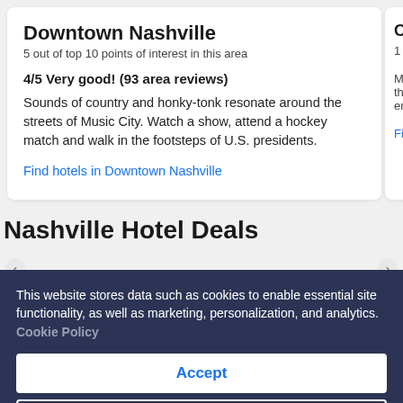Downtown Nashville
5 out of top 10 points of interest in this area
4/5 Very good! (93 area reviews)
Sounds of country and honky-tonk resonate around the streets of Music City. Watch a show, attend a hockey match and walk in the footsteps of U.S. presidents.
Find hotels in Downtown Nashville
Nashville Hotel Deals
This website stores data such as cookies to enable essential site functionality, as well as marketing, personalization, and analytics. Cookie Policy
Accept
Deny